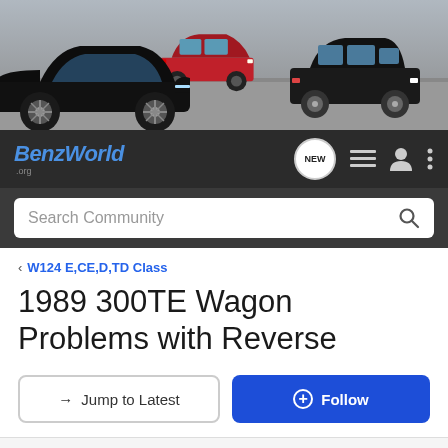[Figure (photo): BenzWorld website banner showing three Mercedes-Benz cars: a black modern sports car (roadster) on the left, a red coupe in the center-back, and a black classic sedan on the right, against a grey concrete background.]
BenzWorld .org
Search Community
< W124 E,CE,D,TD Class
1989 300TE Wagon Problems with Reverse
→ Jump to Latest
+ Follow
1 - 6 of 6 Posts